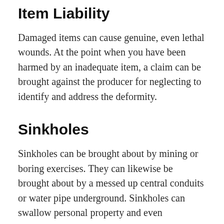Item Liability
Damaged items can cause genuine, even lethal wounds. At the point when you have been harmed by an inadequate item, a claim can be brought against the producer for neglecting to identify and address the deformity.
Sinkholes
Sinkholes can be brought about by mining or boring exercises. They can likewise be brought about by a messed up central conduits or water pipe underground. Sinkholes can swallow personal property and even individuals. Where a sinkhole is